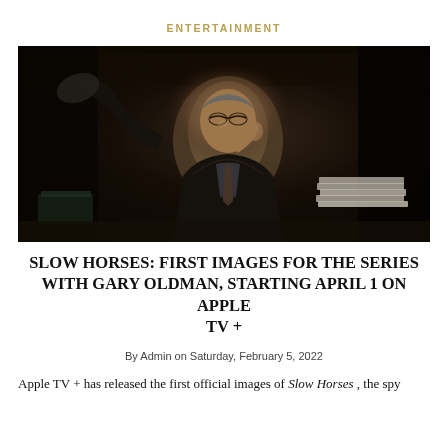ENTERTAINMENT
[Figure (photo): A man in a dark suit with glasses sits reclined in a chair in a dimly lit, dark office or study, with stacks of papers on the desk. Scene from the Apple TV+ series Slow Horses with Gary Oldman.]
SLOW HORSES: FIRST IMAGES FOR THE SERIES WITH GARY OLDMAN, STARTING APRIL 1 ON APPLE TV +
By Admin on Saturday, February 5, 2022
Apple TV + has released the first official images of Slow Horses , the spy